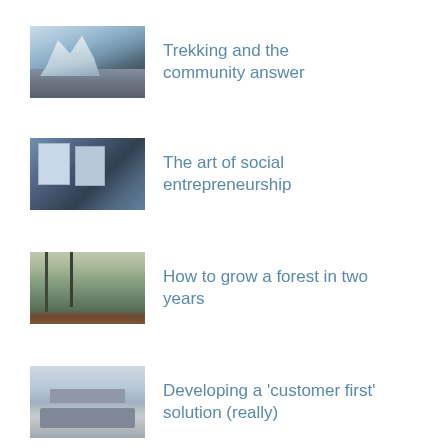Trekking and the community answer
The art of social entrepreneurship
How to grow a forest in two years
Developing a 'customer first' solution (really)